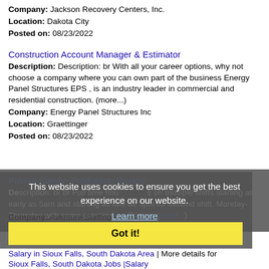Company: Jackson Recovery Centers, Inc.
Location: Dakota City
Posted on: 08/23/2022
Construction Account Manager & Estimator
Description: Description: br With all your career options, why not choose a company where you can own part of the business Energy Panel Structures EPS , is an industry leader in commercial and residential construction. (more...)
Company: Energy Panel Structures Inc
Location: Graettinger
Posted on: 08/23/2022
Palmer Candy- Production Worker
Description: br br Full time hours on multiple shifts starting as early as 5am and starting as late as 5pm for second shift. Monday-Thursday with some overtime on Fridays (more...)
Company: Aventure Staffing
Location: Sioux City
Posted on: 08/23/2022
This website uses cookies to ensure you get the best experience on our website.
Learn more
Got it!
Salary in Sioux Falls, South Dakota Area | More details for Sioux Falls, South Dakota Jobs |Salary